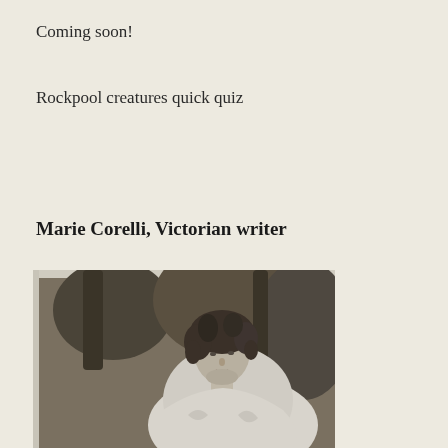Coming soon!
Rockpool creatures quick quiz
Marie Corelli, Victorian writer
[Figure (photo): Vintage black and white portrait photograph of Marie Corelli, a Victorian writer, showing a woman with curly hair wearing a light-colored dress, photographed against a dark background.]